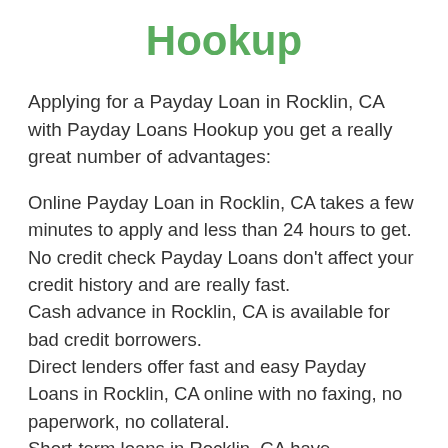Hookup
Applying for a Payday Loan in Rocklin, CA with Payday Loans Hookup you get a really great number of advantages:
Online Payday Loan in Rocklin, CA takes a few minutes to apply and less than 24 hours to get.
No credit check Payday Loans don't affect your credit history and are really fast.
Cash advance in Rocklin, CA is available for bad credit borrowers.
Direct lenders offer fast and easy Payday Loans in Rocklin, CA online with no faxing, no paperwork, no collateral.
Short-term loans in Rocklin, CA have convenient repayment terms of 14 – 30 days with an automatic withdrawal of money from your account on a due date